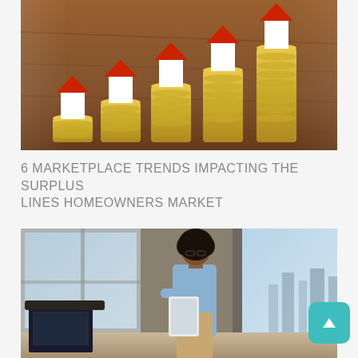[Figure (photo): Photo of five small white house models with red roofs placed on ascending stacks of gold coins on a wooden surface, symbolizing rising home values or property market growth.]
6 MARKETPLACE TRENDS IMPACTING THE SURPLUS LINES HOMEOWNERS MARKET
[Figure (photo): Photo of a professional Black woman with curly hair wearing glasses and a light blue shirt, reading from a tablet device in a modern office with large windows showing a city skyline.]